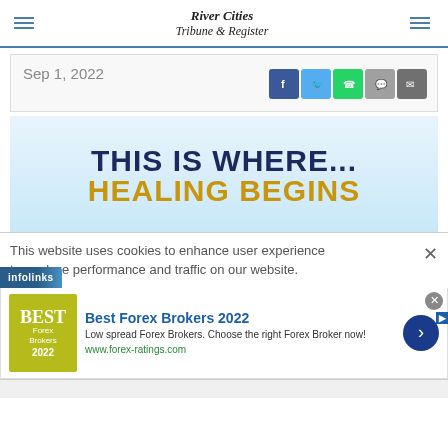River Cities Tribune & Register
Sep 1, 2022
[Figure (infographic): THIS IS WHERE... HEALING BEGINS advertisement banner with dark blue and gold text on light blue background]
This website uses cookies to enhance user experience to analyze performance and traffic on our website.
[Figure (infographic): Best Forex Brokers 2022 advertisement with olive/yellow logo box, title, description, URL www.forex-ratings.com, and blue arrow button]